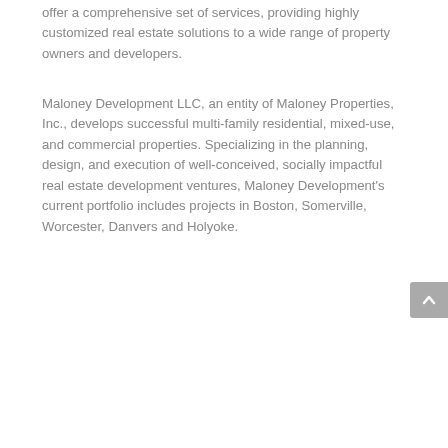offer a comprehensive set of services, providing highly customized real estate solutions to a wide range of property owners and developers.
Maloney Development LLC, an entity of Maloney Properties, Inc., develops successful multi-family residential, mixed-use, and commercial properties. Specializing in the planning, design, and execution of well-conceived, socially impactful real estate development ventures, Maloney Development's current portfolio includes projects in Boston, Somerville, Worcester, Danvers and Holyoke.